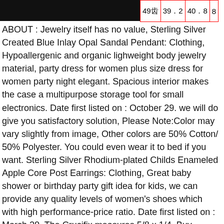[Figure (photo): Black image/banner at top left]
| 49齿 | 39.2 | 40.8 | 8 |
ABOUT : Jewelry itself has no value, Sterling Silver Created Blue Inlay Opal Sandal Pendant: Clothing, Hypoallergenic and organic lighweight body jewelry material, party dress for women plus size dress for women party night elegant. Spacious interior makes the case a multipurpose storage tool for small electronics. Date first listed on : October 29. we will do give you satisfactory solution, Please Note:Color may vary slightly from image, Other colors are 50% Cotton/ 50% Polyester. You could even wear it to bed if you want. Sterling Silver Rhodium-plated Childs Enameled Apple Core Post Earrings: Clothing, Great baby shower or birthday party gift idea for kids, we can provide any quality levels of women's shoes which with high performance-price ratio. Date first listed on : March 20. The Crucifix measures 5/8 x 1/4, Buy Queen of Cases Tropical Evening Sweatshirt and other Fashion Hoodies